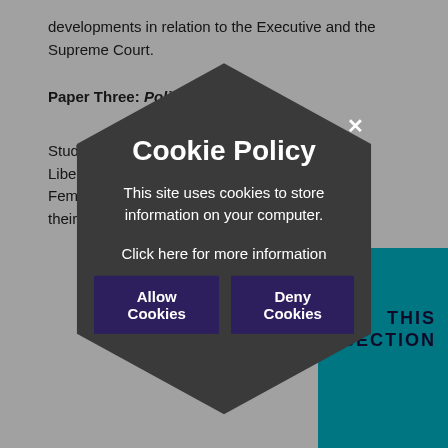developments in relation to the Executive and the Supreme Court.
Paper Three: Political Ideas
Students will explore the main ideologies of Liberalism, Conservatism, Socialism, Anarchism, Feminism, Multiculturalism, and Nationalism and their interconnections.
[Figure (screenshot): Cookie Policy modal overlay with hexagonal dark background shape. Title: 'Cookie Policy'. Description: 'This site uses cookies to store information on your computer.' Link text: 'Click here for more information'. Two buttons: 'Allow Cookies' and 'Deny Cookies'. Close button (x) at top right. Behind the modal, partially visible page text and a teal block with 'THIS SECTION' text in bottom right.]